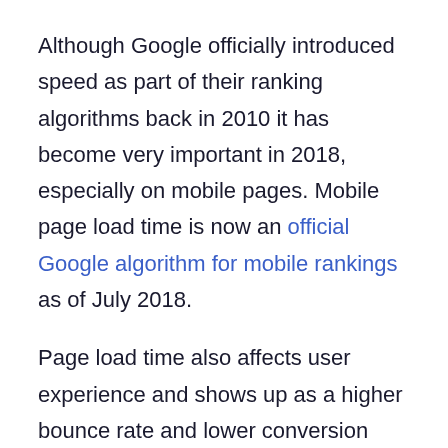Although Google officially introduced speed as part of their ranking algorithms back in 2010 it has become very important in 2018, especially on mobile pages. Mobile page load time is now an official Google algorithm for mobile rankings as of July 2018.
Page load time also affects user experience and shows up as a higher bounce rate and lower conversion rate, as shown in this graphic. We created this graphic from Google's stats but there are plenty more stats